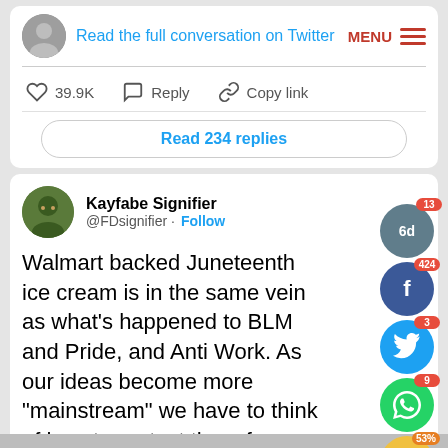[Figure (screenshot): Twitter conversation header with avatar, 'Read the full conversation on Twitter' link, and MENU button]
39.9K   Reply   Copy link
Read 234 replies
[Figure (screenshot): Twitter avatar for Kayfabe Signifier]
Kayfabe Signifier @FDsignifier · Follow
Walmart backed Juneteenth ice cream is in the same vein as what's happened to BLM and Pride, and Anti Work. As our ideas become more "mainstream" we have to think of how to protect them from being recuperated and de-radicalized.
12:34 AM · May 24, 2022
[Figure (infographic): Social sharing buttons overlay: gray button with 6d/13, Facebook 424, Twitter 3, WhatsApp 9, yellow emoji 53%, orange-red chat 1, red share]